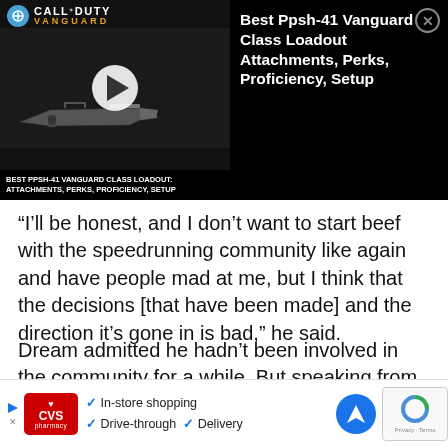[Figure (screenshot): Call of Duty Vanguard advertisement banner showing a gun thumbnail with play button, PPSH-41 Vanguard class loadout title text, and a close button]
“I’ll be honest, and I don’t want to start beef with the speedrunning community like again and have people mad at me, but I think that the decisions [that have been made] and the direction it’s gone in is bad,” he said.
Dream admitted he hadn’t been involved in the community for a while. But speaking from the perspective of a spectator, he claims it’s simply become too nuanced and complicated for people to follow
[Figure (screenshot): CVS Pharmacy advertisement banner at bottom showing In-store shopping, Drive-through, and Delivery options with a navigation icon and reCAPTCHA widget]